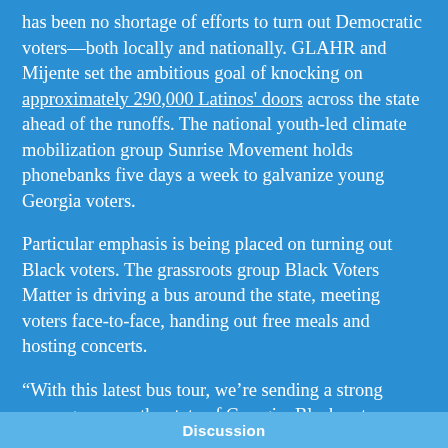has been no shortage of efforts to turn out Democratic voters—both locally and nationally. GLAHR and Mijente set the ambitious goal of knocking on approximately 290,000 Latinos' doors across the state ahead of the runoffs. The national youth-led climate mobilization group Sunrise Movement holds phonebanks five days a week to galvanize young Georgia voters.
Particular emphasis is being placed on turning out Black voters. The grassroots group Black Voters Matter is driving a bus around the state, meeting voters face-to-face, handing out free meals and hosting concerts.
“With this latest bus tour, we’re sending a strong message across the state of Georgia: Black voters made history on Election Day, and we can do it again,” said Black Voters Matter cofounder Cliff Albright in a
Discussion